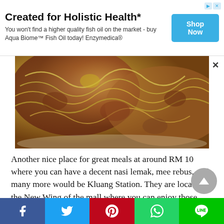[Figure (screenshot): Advertisement banner: 'Created for Holistic Health*' with text 'You won't find a higher quality fish oil on the market - buy Aqua Biome™ Fish Oil today! Enzymedica®' and a blue 'Shop Now' button]
[Figure (photo): Close-up photo of food — appears to be mee rebus or similar noodle/fried dish with yellow noodles and brown crispy coating on a plate]
Another nice place for great meals at around RM 10 where you can have a decent nasi lemak, mee rebus, and many more would be Kluang Station. They are located at the New Wing of the mall where you can enjoy those lovely local delicacies there. And one of my favorite there is their Siam Bihun.
Address:
LG337. LG. 1 Lebuh Bandar Utama.
[Figure (screenshot): Social media share buttons row: Facebook (blue), Twitter (light blue), Pinterest (red), WhatsApp (green), LINE (green)]